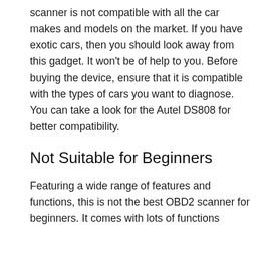scanner is not compatible with all the car makes and models on the market. If you have exotic cars, then you should look away from this gadget. It won't be of help to you. Before buying the device, ensure that it is compatible with the types of cars you want to diagnose. You can take a look for the Autel DS808 for better compatibility.
Not Suitable for Beginners
Featuring a wide range of features and functions, this is not the best OBD2 scanner for beginners. It comes with lots of functions